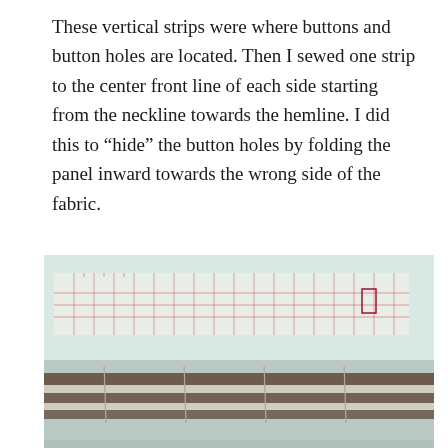These vertical strips were where buttons and button holes are located. Then I sewed one strip to the center front line of each side starting from the neckline towards the hemline. I did this to “hide” the button holes by folding the panel inward towards the wrong side of the fabric.
[Figure (photo): A photograph showing a fabric strip with a grid/ruler pattern drawn on it in red lines, and below it a striped fabric piece pinned with sewing pins, laid flat on a surface.]